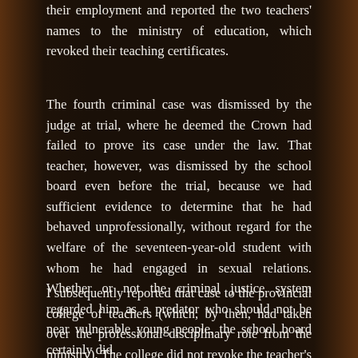their employment and reported the two teachers' names to the ministry of education, which revoked their teaching certificates.
The fourth criminal case was dismissed by the judge at trial, where he deemed the Crown had failed to prove its case under the law. That teacher, however, was dismissed by the school board even before the trial, because we had sufficient evidence to determine that he had behaved unprofessionally, without regard for the welfare of the seventeen-year-old student with whom he had engaged in sexual relations. Whether or not the criminal justice system regarded him as a predator who should not be near vulnerable young people, the school board certainly did.
I subsequently reported that case to the provincial college of teachers (which, by then, had taken over the professional disciplinary role from the ministry). The college did not revoke the teacher's certificate—perhaps because he had been found not guilty of a criminal